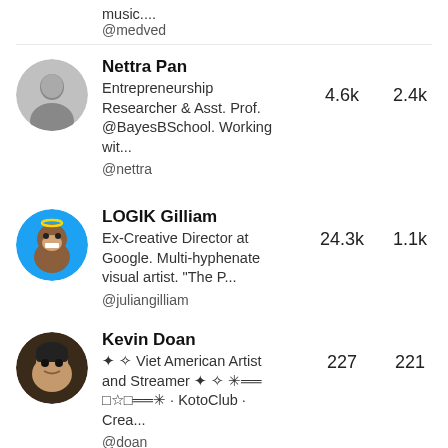music....
@medved
Nettra Pan
Entrepreneurship Researcher & Asst. Prof. @BayesBSchool. Working wit...
4.6k   2.4k
@nettra
LOGIK Gilliam
Ex-Creative Director at Google. Multi-hyphenate visual artist. "The P...
24.3k   1.1k
@juliangilliam
Kevin Doan
✦ ✧ Viet American Artist and Streamer ✦ ✧ ✳══ □☆□══✳ · KotoClub · Crea...
227   221
@doan